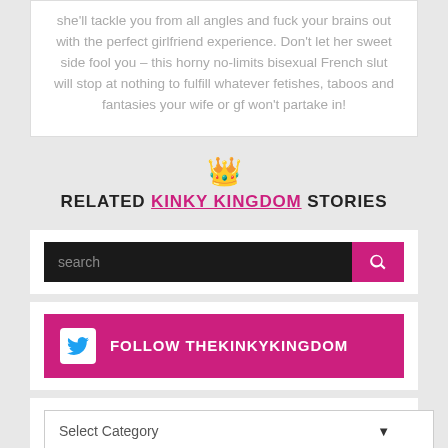she'll tackle you from all angles and fuck your brains out with the perfect girlfriend experience. Don't let her sweet side fool you – this horny no-limits bisexual French slut will stop at nothing to fulfill whatever fetishes, taboos and fantasies your wife or gf won't partake in!
RELATED KINKY KINGDOM STORIES
search
FOLLOW THEKINKYKINGDOM
Select Category